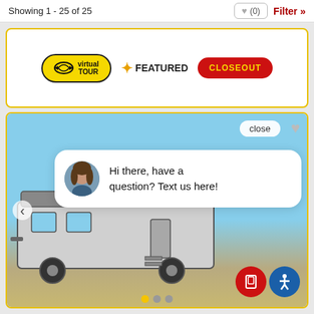Showing 1 - 25 of 25
(0)
Filter »
[Figure (infographic): Card showing badges: Virtual Tour (yellow oval badge), Featured (star icon with text), Closeout (red pill button with yellow text)]
[Figure (photo): RV/travel trailer photo with chat overlay bubble saying 'Hi there, have a question? Text us here!' with female avatar, close button, left navigation arrow, accessibility button (blue circle), and phone button (red circle). Yellow dot indicators at bottom.]